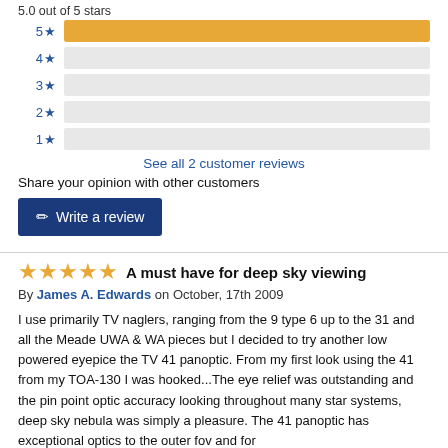5.0 out of 5 stars
[Figure (bar-chart): Star rating distribution]
See all 2 customer reviews
Share your opinion with other customers
Write a review
A must have for deep sky viewing
By James A. Edwards on October, 17th 2009
I use primarily TV naglers, ranging from the 9 type 6 up to the 31 and all the Meade UWA & WA pieces but I decided to try another low powered eyepice the TV 41 panoptic. From my first look using the 41 from my TOA-130 I was hooked...The eye relief was outstanding and the pin point optic accuracy looking throughout many star systems, deep sky nebula was simply a pleasure. The 41 panoptic has exceptional optics to the outer fov and for